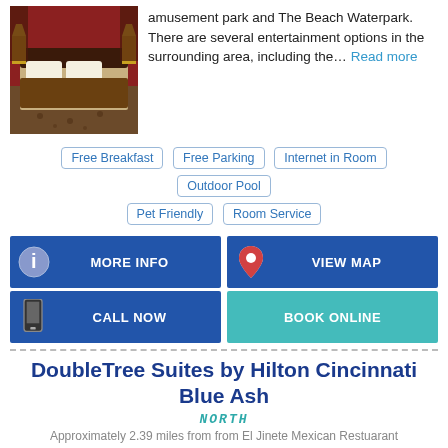[Figure (photo): Hotel room photo showing a bed with dark headboard, lamps, and patterned carpet]
amusement park and The Beach Waterpark. There are several entertainment options in the surrounding area, including the... Read more
Free Breakfast
Free Parking
Internet in Room
Outdoor Pool
Pet Friendly
Room Service
MORE INFO
VIEW MAP
CALL NOW
BOOK ONLINE
DoubleTree Suites by Hilton Cincinnati Blue Ash
NORTH
Approximately 2.39 miles from from El Jinete Mexican Restuarant
[Figure (photo): Hotel exterior photo with blue sky background]
The DoubleTree Suites by Hilton Cincinnati-Blue Ash hotel, just off I-275 at the Road Hartman